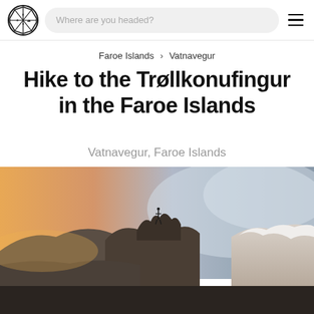[Figure (logo): Circular logo with geometric/compass-like design and hash symbols]
Where are you headed?
≡ (hamburger menu icon)
Faroe Islands > Vatnavegur
Hike to the Trøllkonufingur in the Faroe Islands
Vatnavegur, Faroe Islands
[Figure (photo): Dramatic landscape photo of rocky cliffs in the Faroe Islands with a person standing on a rocky peak, warm sunset tones on the left and misty cloudy sky to the right, snow-dusted rocks in foreground]